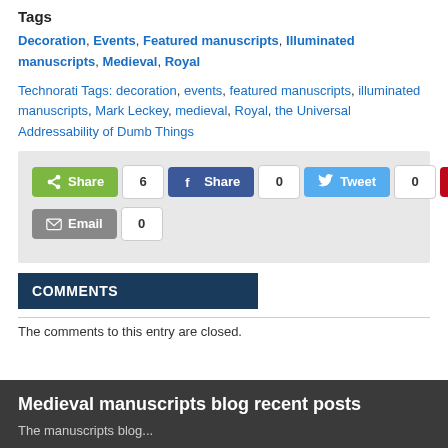Tags
Decoration, Events, Featured manuscripts, Illuminated manuscripts, Medieval, Royal
Technorati Tags: decoration, events, featured manuscripts, illuminated manuscripts, Mark Leckey, medieval, Royal, the Universal Addressability of Dumb Things
[Figure (infographic): Social share buttons: Share (6), Facebook Share (0), Twitter Tweet (0), Pinterest Pin (3), Email (0)]
COMMENTS
The comments to this entry are closed.
Medieval manuscripts blog recent posts